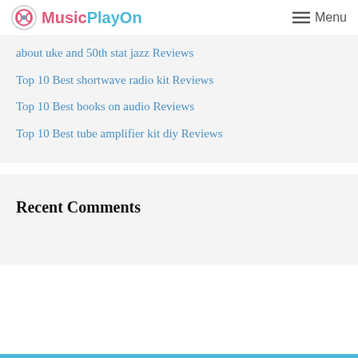MusicPlayOn  Menu
about uke and 50th stat jazz Reviews
Top 10 Best shortwave radio kit Reviews
Top 10 Best books on audio Reviews
Top 10 Best tube amplifier kit diy Reviews
Recent Comments